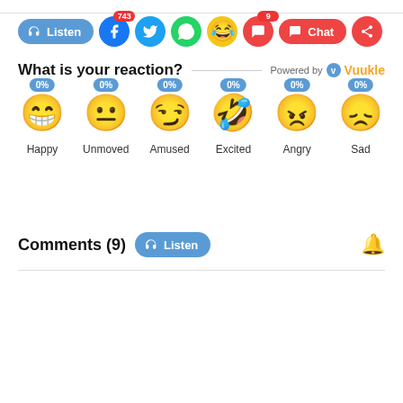[Figure (screenshot): Social sharing bar with Listen button, Facebook (743), Twitter, WhatsApp, emoji, chat (9), Chat button, share button]
What is your reaction?
[Figure (infographic): Six emoji reaction buttons each showing 0%: Happy, Unmoved, Amused, Excited, Angry, Sad]
Comments (9)
[Figure (screenshot): Comment input area (grey box) with floating orange chat button showing badge 9]